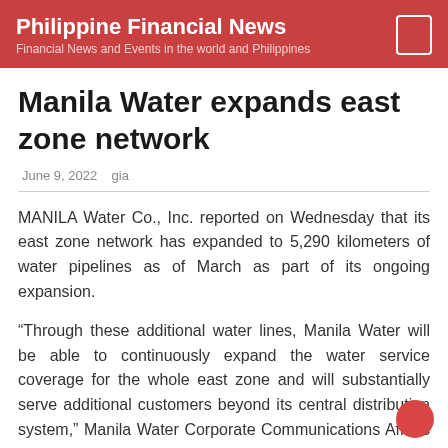Philippine Financial News
Financial News and Events in the world and Philippines
Manila Water expands east zone network
June 9, 2022   gia
MANILA Water Co., Inc. reported on Wednesday that its east zone network has expanded to 5,290 kilometers of water pipelines as of March as part of its ongoing expansion.
“Through these additional water lines, Manila Water will be able to continuously expand the water service coverage for the whole east zone and will substantially serve additional customers beyond its central distribution system,” Manila Water Corporate Communications Affairs Group Head Jeric T. Sevilla said in a statement.